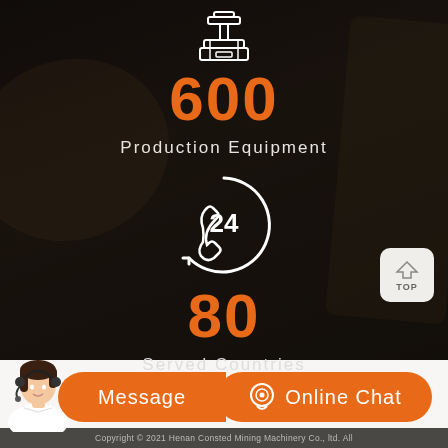[Figure (illustration): White line icon of industrial/production equipment (press machine) on dark background]
600
Production Equipment
[Figure (illustration): White line icon of 24-hour phone/headset service symbol]
80
Served Countries
[Figure (illustration): TOP navigation button - white rounded square with house/arrow icon and TOP label]
[Figure (photo): Customer service representative woman with headset]
Message
Online Chat
Copyright © 2021 Henan Consted Mining Machinery Co., ltd. All